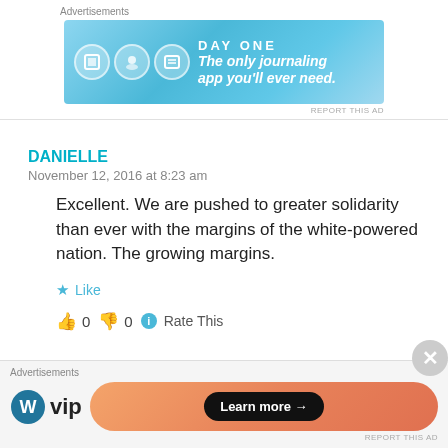[Figure (screenshot): Advertisement banner for Day One journaling app with blue gradient background, app icons, text reading 'The only journaling app you'll ever need.']
REPORT THIS AD
DANIELLE
November 12, 2016 at 8:23 am
Excellent. We are pushed to greater solidarity than ever with the margins of the white-powered nation. The growing margins.
Like
0  0  Rate This
[Figure (screenshot): Advertisement for WordPress VIP with WP logo and 'Learn more' button on gradient background]
REPORT THIS AD